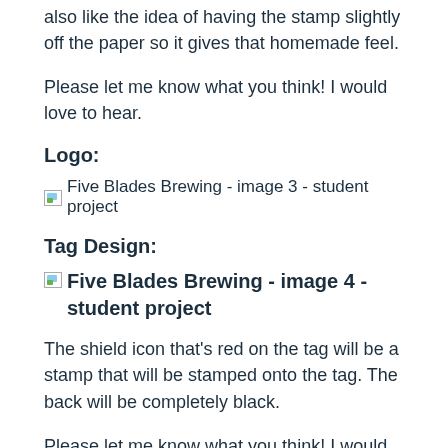also like the idea of having the stamp slightly off the paper so it gives that homemade feel.
Please let me know what you think! I would love to hear.
Logo:
[Figure (illustration): Five Blades Brewing - image 3 - student project]
Tag Design:
[Figure (illustration): Five Blades Brewing - image 4 - student project]
The shield icon that's red on the tag will be a stamp that will be stamped onto the tag. The back will be completely black.
Please let me know what you think! I would love